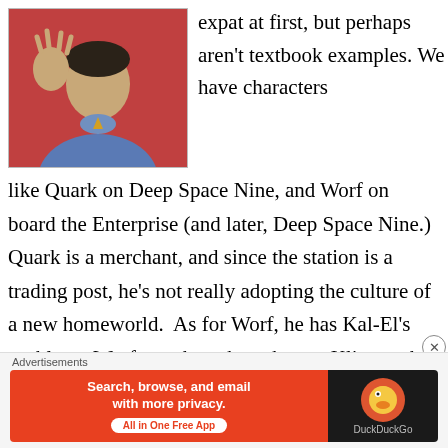[Figure (photo): Photo of Mr. Spock (Leonard Nimoy) from Star Trek in blue uniform giving Vulcan salute against red background]
expat at first, but perhaps aren't textbook examples. We have characters like Quark on Deep Space Nine, and Worf on board the Enterprise (and later, Deep Space Nine.) Quark is a merchant, and since the station is a trading post, he's not really adopting the culture of a new homeworld. As for Worf, he has Kal-El's problem. Worf may have been born a Klingon, but he was adopted by and raised by humans. His primary culture is the one that he's most commonly in touch with. Worf isn't an
Advertisements
[Figure (other): DuckDuckGo advertisement banner: 'Search, browse, and email with more privacy. All in One Free App' on orange/red background with DuckDuckGo logo on dark background]